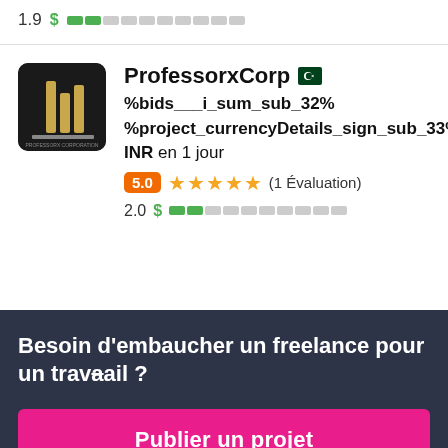1.9 $ [progress bar]
[Figure (screenshot): Profile avatar for ProfessorxCorp — dark background with logo]
ProfessorxCorp
%bids___i_sum_sub_32% %project_currencyDetails_sign_sub_33% INR en 1 jour
5.0 ★★★★★ (1 Évaluation)
2.0 $ [progress bar]
Besoin d'embaucher un freelance pour un travail ?
Publier un projet